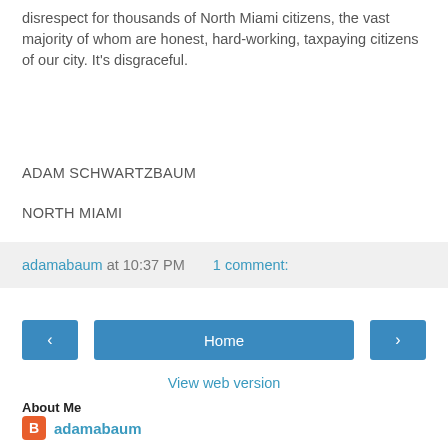disrespect for thousands of North Miami citizens, the vast majority of whom are honest, hard-working, taxpaying citizens of our city. It's disgraceful.
ADAM SCHWARTZBAUM
NORTH MIAMI
adamabaum at 10:37 PM    1 comment:
Home
View web version
About Me
adamabaum
View my complete profile
Powered by Blogger.